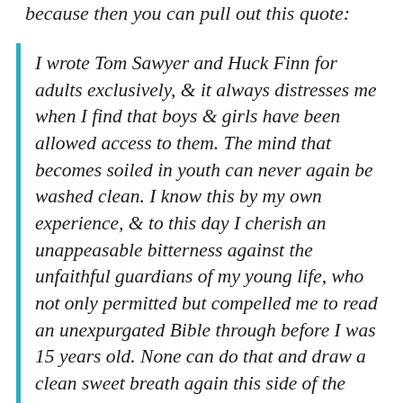because then you can pull out this quote:
I wrote Tom Sawyer and Huck Finn for adults exclusively, & it always distresses me when I find that boys & girls have been allowed access to them. The mind that becomes soiled in youth can never again be washed clean. I know this by my own experience, & to this day I cherish an unappeasable bitterness against the unfaithful guardians of my young life, who not only permitted but compelled me to read an unexpurgated Bible through before I was 15 years old. None can do that and draw a clean sweet breath again this side of the grave. ... Most honestly do I wish that I could say a softening word or two in defense of Huck's